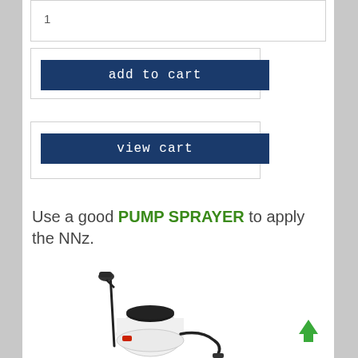1
add to cart
view cart
Use a good PUMP SPRAYER to apply the NNz.
[Figure (photo): A white pump sprayer with black handle, wand, and hose, with a red nozzle valve near the bottom.]